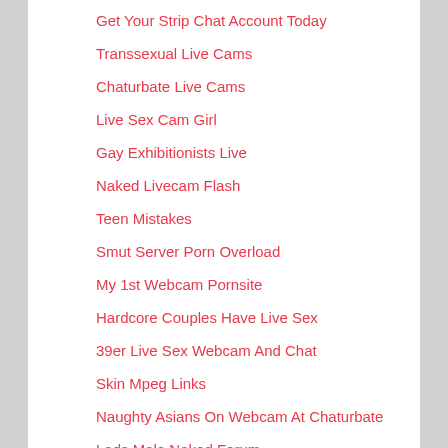Get Your Strip Chat Account Today
Transsexual Live Cams
Chaturbate Live Cams
Live Sex Cam Girl
Gay Exhibitionists Live
Naked Livecam Flash
Teen Mistakes
Smut Server Porn Overload
My 1st Webcam Pornsite
Hardcore Couples Have Live Sex
39er Live Sex Webcam And Chat
Skin Mpeg Links
Naughty Asians On Webcam At Chaturbate
Lads Male Naked Forum
Horny Girls Naked On Live Cam
Free Nude Cams